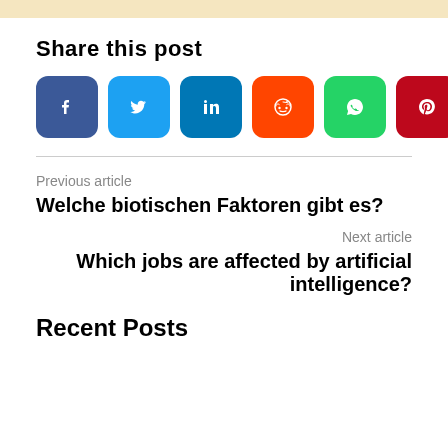[Figure (other): Top decorative banner in light tan/beige color]
Share this post
[Figure (infographic): Row of 7 social media share buttons: Facebook (dark blue), Twitter (light blue), LinkedIn (dark blue), Reddit (orange), WhatsApp (green), Pinterest (dark red), Telegram (blue)]
Previous article
Welche biotischen Faktoren gibt es?
Next article
Which jobs are affected by artificial intelligence?
Recent Posts